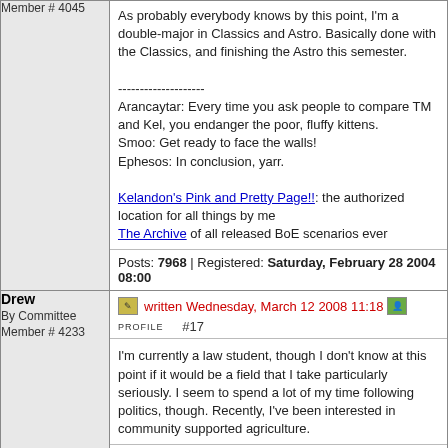Member # 4045
As probably everybody knows by this point, I'm a double-major in Classics and Astro. Basically done with the Classics, and finishing the Astro this semester.

--------------------
Arancaytar: Every time you ask people to compare TM and Kel, you endanger the poor, fluffy kittens.
Smoo: Get ready to face the walls!
Ephesos: In conclusion, yarr.

Kelandon's Pink and Pretty Page!!: the authorized location for all things by me
The Archive of all released BoE scenarios ever
Posts: 7968 | Registered: Saturday, February 28 2004 08:00
Drew
By Committee
Member # 4233
written Wednesday, March 12 2008 11:18  PROFILE  #17
I'm currently a law student, though I don't know at this point if it would be a field that I take particularly seriously. I seem to spend a lot of my time following politics, though. Recently, I've been interested in community supported agriculture.
Posts: 2242 | Registered: Saturday, April 10 2004 07:00